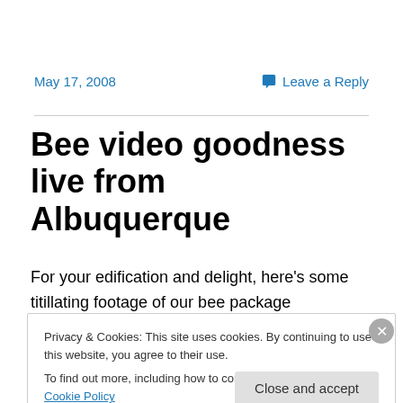May 17, 2008
Leave a Reply
Bee video goodness live from Albuquerque
For your edification and delight, here’s some titillating footage of our bee package installation. It’s a kenyan top
Privacy & Cookies: This site uses cookies. By continuing to use this website, you agree to their use.
To find out more, including how to control cookies, see here: Cookie Policy
Close and accept